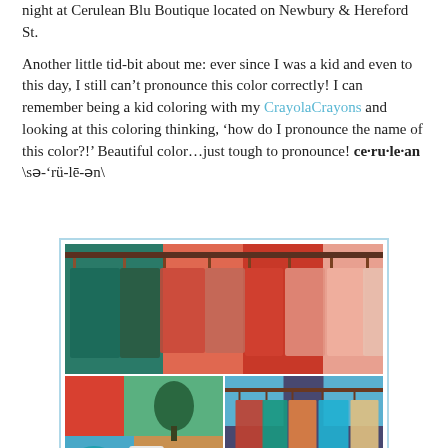night at Cerulean Blu Boutique located on Newbury & Hereford St.
Another little tid-bit about me: ever since I was a kid and even to this day, I still can't pronounce this color correctly! I can remember being a kid coloring with my CrayolaCrayons and looking at this coloring thinking, 'how do I pronounce the name of this color?!' Beautiful color…just tough to pronounce! ce·ru·le·an \sə-'rü-lē-ən\
[Figure (photo): A collage of three photos from Cerulean Blu Boutique showing clothing racks with colorful garments hanging on display. Top photo shows a full rack of mixed colorful clothes on wooden hangers. Bottom left shows a store interior with clothing and accessories. Bottom right shows another view of clothing racks with colorful items.]